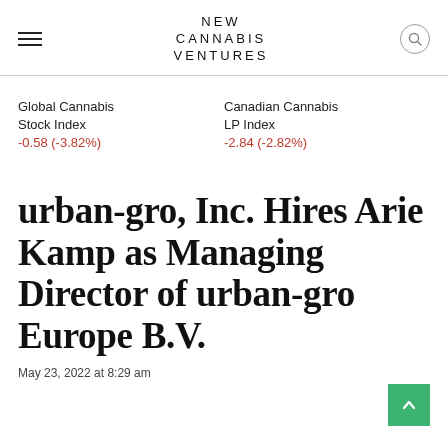NEW CANNABIS VENTURES
Global Cannabis Stock Index
-0.58 (-3.82%)
Canadian Cannabis LP Index
-2.84 (-2.82%)
urban-gro, Inc. Hires Arie Kamp as Managing Director of urban-gro Europe B.V.
May 23, 2022 at 8:29 am